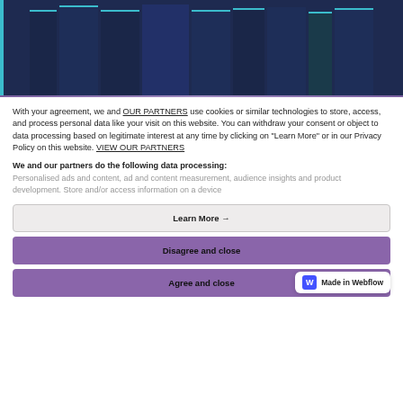[Figure (photo): Photo of people wearing dark navy graduation gowns, showing the lower half of the gowns hanging, with a teal/cyan border accent on the left side]
With your agreement, we and OUR PARTNERS use cookies or similar technologies to store, access, and process personal data like your visit on this website. You can withdraw your consent or object to data processing based on legitimate interest at any time by clicking on "Learn More" or in our Privacy Policy on this website. VIEW OUR PARTNERS
We and our partners do the following data processing:
Personalised ads and content, ad and content measurement, audience insights and product development. Store and/or access information on a device
Learn More →
Disagree and close
Agree and close
[Figure (logo): Made in Webflow badge with blue W logo]